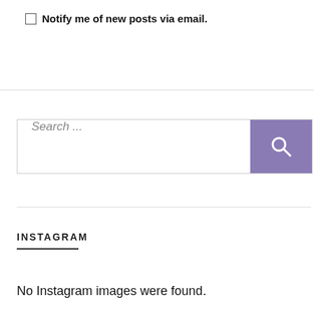Notify me of new posts via email.
[Figure (screenshot): Search bar with text 'Search ...' and a purple button with a magnifying glass icon]
INSTAGRAM
No Instagram images were found.